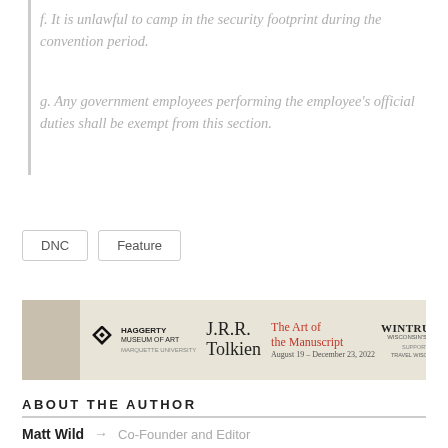f. It is unlawful to camp in the security footprint during the convention period.
g. Any government employees performing the employee's official duties shall be exempt from this section.
DNC   Feature
[Figure (illustration): Haggerty Museum of Art advertisement for J.R.R. Tolkien: The Art of the Manuscript, August 19 - December 23, 2022, sponsored by Wintrust Wisconsin's Bank and Travel Wisconsin]
ABOUT THE AUTHOR
Matt Wild → Co-Founder and Editor
Matt Wild weighs between 140 and 145 pounds.